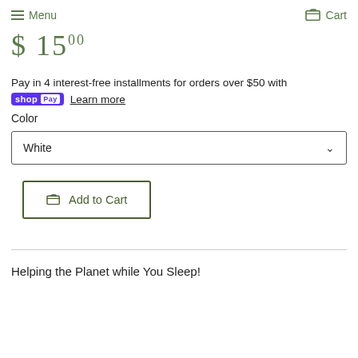Menu  Cart
$15.00
Pay in 4 interest-free installments for orders over $50 with shop Pay Learn more
Color
White
Add to Cart
Helping the Planet while You Sleep!